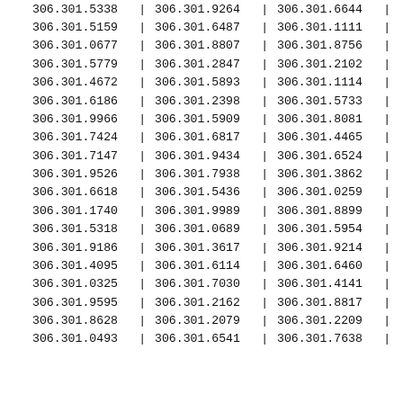| col1 | sep1 | col2 | sep2 | col3 | sep3 |
| --- | --- | --- | --- | --- | --- |
| 306.301.5338 | | | 306.301.9264 | | | 306.301.6644 | | |
| 306.301.5159 | | | 306.301.6487 | | | 306.301.1111 | | |
| 306.301.0677 | | | 306.301.8807 | | | 306.301.8756 | | |
| 306.301.5779 | | | 306.301.2847 | | | 306.301.2102 | | |
| 306.301.4672 | | | 306.301.5893 | | | 306.301.1114 | | |
| 306.301.6186 | | | 306.301.2398 | | | 306.301.5733 | | |
| 306.301.9966 | | | 306.301.5909 | | | 306.301.8081 | | |
| 306.301.7424 | | | 306.301.6817 | | | 306.301.4465 | | |
| 306.301.7147 | | | 306.301.9434 | | | 306.301.6524 | | |
| 306.301.9526 | | | 306.301.7938 | | | 306.301.3862 | | |
| 306.301.6618 | | | 306.301.5436 | | | 306.301.0259 | | |
| 306.301.1740 | | | 306.301.9989 | | | 306.301.8899 | | |
| 306.301.5318 | | | 306.301.0689 | | | 306.301.5954 | | |
| 306.301.9186 | | | 306.301.3617 | | | 306.301.9214 | | |
| 306.301.4095 | | | 306.301.6114 | | | 306.301.6460 | | |
| 306.301.0325 | | | 306.301.7030 | | | 306.301.4141 | | |
| 306.301.9595 | | | 306.301.2162 | | | 306.301.8817 | | |
| 306.301.8628 | | | 306.301.2079 | | | 306.301.2209 | | |
| 306.301.0493 | | | 306.301.6541 | | | 306.301.7638 | | |